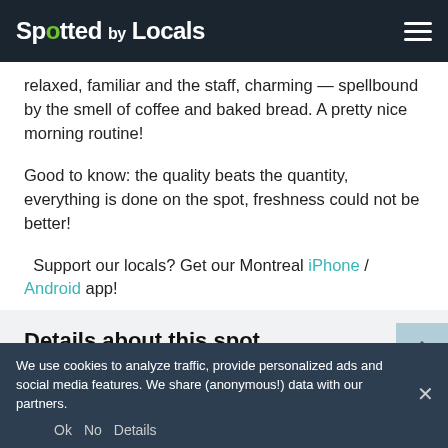Spotted by Locals
relaxed, familiar and the staff, charming — spellbound by the smell of coffee and baked bread. A pretty nice morning routine!
Good to know: the quality beats the quantity, everything is done on the spot, freshness could not be better!
Support our locals? Get our Montreal iPhone / Android app!
Details about this spot
Categories
Address
We use cookies to analyze traffic, provide personalized ads and social media features. We share (anonymous!) data with our partners.